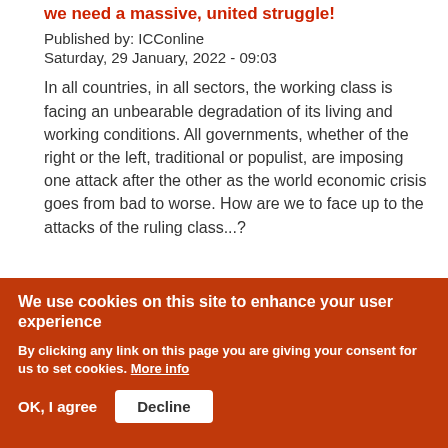we need a massive, united struggle!
Published by: ICConline
Saturday, 29 January, 2022 - 09:03
In all countries, in all sectors, the working class is facing an unbearable degradation of its living and working conditions. All governments, whether of the right or the left, traditional or populist, are imposing one attack after the other as the world economic crisis goes from bad to worse. How are we to face up to the attacks of the ruling class...?
We use cookies on this site to enhance your user experience
By clicking any link on this page you are giving your consent for us to set cookies. More info
OK, I agree
Decline